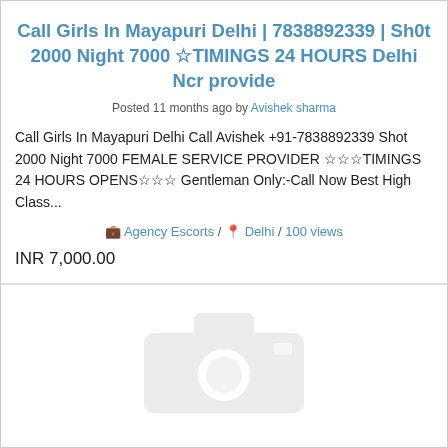Call Girls In Mayapuri Delhi | 7838892339 | Sh0t 2000 Night 7000 ☆TIMINGS 24 HOURS Delhi Ncr provide
Posted 11 months ago by Avishek sharma
Call Girls In Mayapuri Delhi Call Avishek +91-7838892339 Shot 2000 Night 7000 FEMALE SERVICE PROVIDER ☆☆☆TIMINGS 24 HOURS OPENS☆☆☆ Gentleman Only:-Call Now Best High Class...
Agency Escorts / Delhi / 100 views
INR 7,000.00
[Figure (illustration): Placeholder image icon (camera/image placeholder graphic in light gray)]